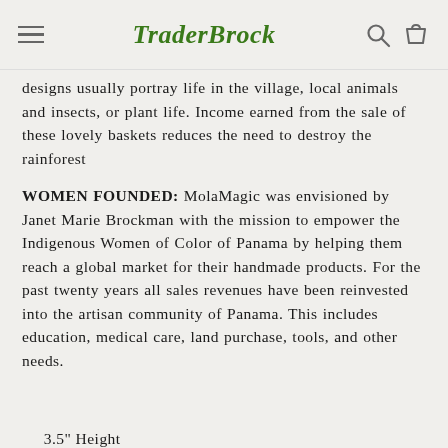TraderBrock
designs usually portray life in the village, local animals and insects, or plant life. Income earned from the sale of these lovely baskets reduces the need to destroy the rainforest
WOMEN FOUNDED: MolaMagic was envisioned by Janet Marie Brockman with the mission to empower the Indigenous Women of Color of Panama by helping them reach a global market for their handmade products. For the past twenty years all sales revenues have been reinvested into the artisan community of Panama. This includes education, medical care, land purchase, tools, and other needs.
3.5" Height